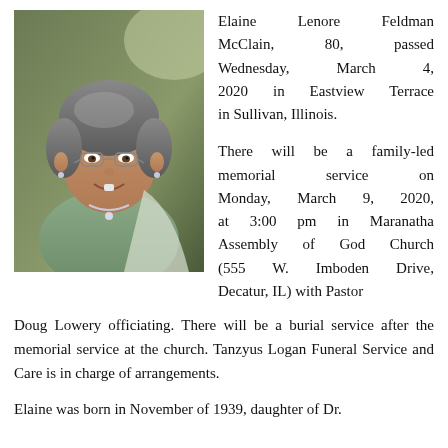[Figure (photo): Portrait photo of Elaine Lenore Feldman McClain, an elderly woman with short curly gray hair, glasses, wearing a green top and silver necklace, smiling.]
Elaine Lenore Feldman McClain, 80, passed Wednesday, March 4, 2020 in Eastview Terrace in Sullivan, Illinois.

There will be a family-led memorial service on Monday, March 9, 2020, at 3:00 pm in Maranatha Assembly of God Church (555 W. Imboden Drive, Decatur, IL) with Pastor Doug Lowery officiating. There will be a burial service after the memorial service at the church. Tanzyus Logan Funeral Service and Care is in charge of arrangements.
Elaine was born in November of 1939, daughter of Dr.